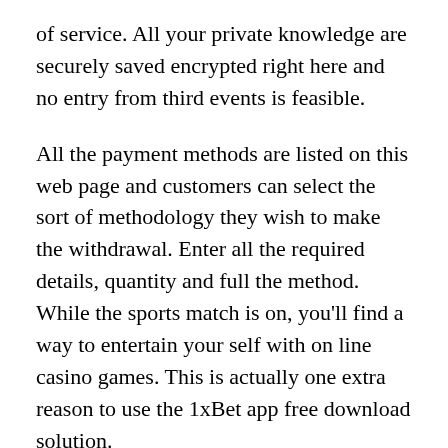of service. All your private knowledge are securely saved encrypted right here and no entry from third events is feasible.
All the payment methods are listed on this web page and customers can select the sort of methodology they wish to make the withdrawal. Enter all the required details, quantity and full the method. While the sports match is on, you'll find a way to entertain your self with on line casino games. This is actually one extra reason to use the 1xBet app free download solution.
Its interface is barely totally different from the previous utility, but they are related in practical features. You can use all types of sports activities betting while enjoying the best video games in the on line casino section. The mobile version presents a